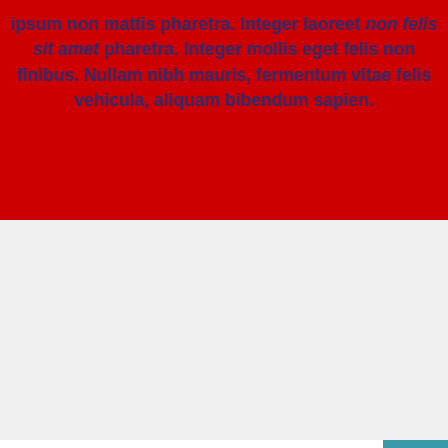ipsum non mattis pharetra. Integer laoreet non felis sit amet pharetra. Integer mollis eget felis non finibus. Nullam nibh mauris, fermentum vitae felis vehicula, aliquam bibendum sapien.
[Figure (other): Search bar with white input field and teal search button with magnifying glass icon]
[Figure (photo): Hands holding crumpled Euro banknotes, close-up photograph with blurred background]